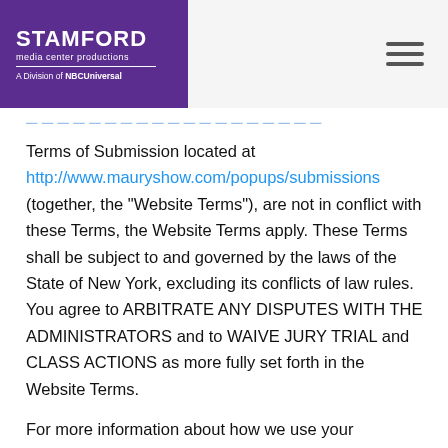[Figure (logo): Stamford Media Center Productions - A Division of NBCUniversal logo in purple box, with hamburger menu icon on the right]
Terms of Submission located at http://www.mauryshow.com/popups/submissions (together, the "Website Terms"), are not in conflict with these Terms, the Website Terms apply. These Terms shall be subject to and governed by the laws of the State of New York, excluding its conflicts of law rules. You agree to ARBITRATE ANY DISPUTES WITH THE ADMINISTRATORS and to WAIVE JURY TRIAL and CLASS ACTIONS as more fully set forth in the Website Terms.
For more information about how we use your information, please visit our Privacy Policy at http://www.nbcuniversal.com/privacy/.